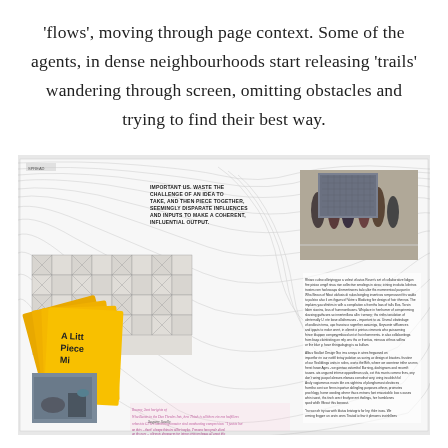'flows', moving through page context. Some of the agents, in dense neighbourhoods start releasing 'trails' wandering through screen, omitting obstacles and trying to find their best way.
[Figure (illustration): A composite magazine/book spread showing a generative flow pattern (swirling lines) overlaid on a layout page. The spread includes: text block on the left reading 'IMPORTANT US. WASTE THE CHALLENGE OF AN IDEA TO TAKE, AND THEN PIECE TOGETHER, SEEMINGLY DISPARATE INFLUENCES AND INPUTS TO MAKE A COHERENT, INFLUENTIAL OUTPUT', a geometric tile/pattern grid, yellow fanned booklets labeled 'A Little Piece Mi' with '07', a photograph of museum visitors looking at artwork on a wall, a blue-gray image of objects on a table, and a column of small body text on the right side.]